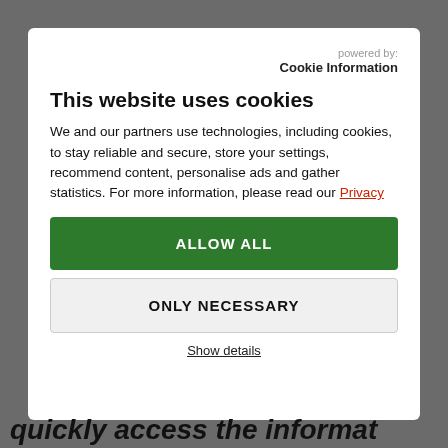powered by: Cookie Information
This website uses cookies
We and our partners use technologies, including cookies, to stay reliable and secure, store your settings, recommend content, personalise ads and gather statistics. For more information, please read our Privacy
ALLOW ALL
ONLY NECESSARY
Show details